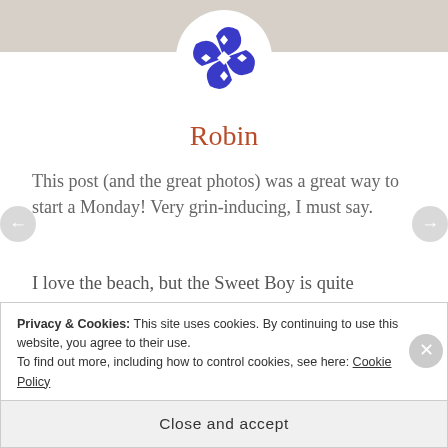[Figure (logo): Circular blue geometric logo with pinwheel/snowflake pattern made of diamond shapes]
Robin
This post (and the great photos) was a great way to start a Monday! Very grin-inducing, I must say.
I love the beach, but the Sweet Boy is quite persnickety about his feet and spends considerable time and attention on keeping them clean. He does not appreciate the wet sand!
Privacy & Cookies: This site uses cookies. By continuing to use this website, you agree to their use.
To find out more, including how to control cookies, see here: Cookie Policy
Close and accept